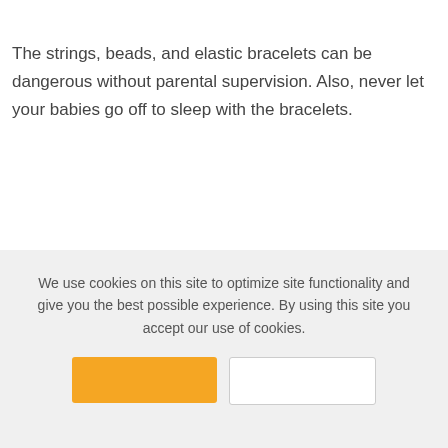The strings, beads, and elastic bracelets can be dangerous without parental supervision. Also, never let your babies go off to sleep with the bracelets.
We use cookies on this site to optimize site functionality and give you the best possible experience. By using this site you accept our use of cookies.